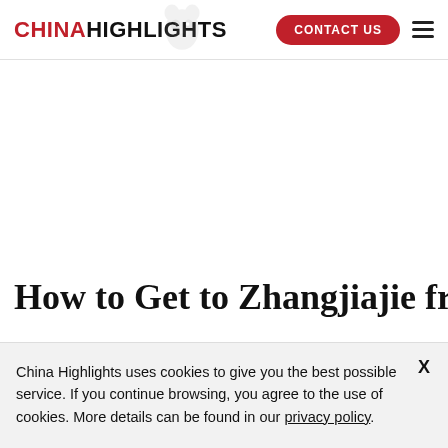CHINA HIGHLIGHTS | CONTACT US
How to Get to Zhangjiajie from
China Highlights uses cookies to give you the best possible service. If you continue browsing, you agree to the use of cookies. More details can be found in our privacy policy.